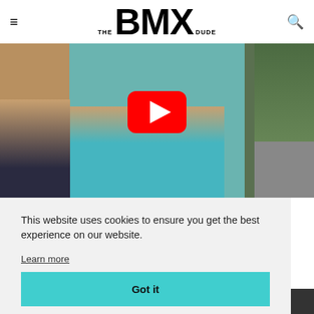THE BMX DUDE
[Figure (screenshot): YouTube video thumbnail showing a person near a pool/skate area with a red YouTube play button overlay]
This website uses cookies to ensure you get the best experience on our website.
Learn more
Got it